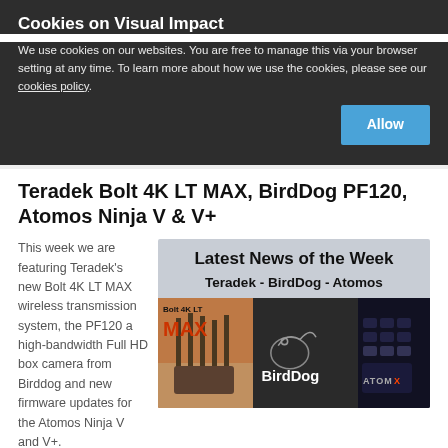Cookies on Visual Impact
We use cookies on our websites. You are free to manage this via your browser setting at any time. To learn more about how we use the cookies, please see our cookies policy.
Teradek Bolt 4K LT MAX, BirdDog PF120, Atomos Ninja V & V+
This week we are featuring Teradek's new Bolt 4K LT MAX wireless transmission system, the PF120 a high-bandwidth Full HD box camera from Birddog and new firmware updates for the Atomos Ninja V and V+.
[Figure (illustration): Latest News of the Week banner featuring Teradek - BirdDog - Atomos with product images of Bolt 4K LT MAX transmitter, BirdDog logo on dark background, and AtomX device.]